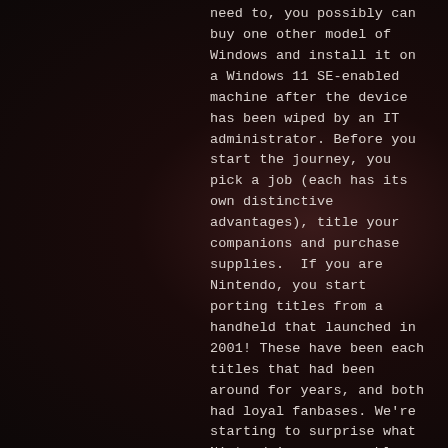need to, you possibly can buy one other model of Windows and install it on a Windows 11 SE-enabled machine after the device has been wiped by an IT administrator. Before you start the journey, you pick a job (each has its own distinctive advantages), title your companions and purchase supplies.  If you are Nintendo, you start porting titles from a handheld that launched in 2001! These have been each titles that had been around for years, and both had loyal fanbases. We're starting to surprise what Nintendo's non-wearable well being technology goes to look like. The usage of low-decision blocks makes many areas look kind of the identical, and when you have received monsters respiration down your neck, it adds a sense of directionless panic. Recently, the household-pleasant segment of the MMO business suffered a little bit of a